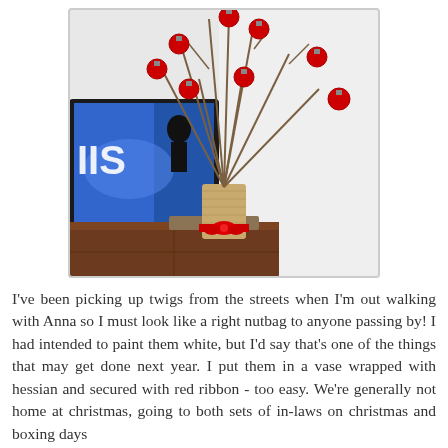[Figure (photo): A vase wrapped in hessian/burlap and tied with a red ribbon, filled with bare twigs decorated with red Christmas ball ornaments. The vase sits on a wooden dresser/cabinet. In the background is a flat-screen TV showing a news broadcast with the letters 'IIS' visible on screen. The setting is a home interior with white walls.]
I've been picking up twigs from the streets when I'm out walking with Anna so I must look like a right nutbag to anyone passing by! I had intended to paint them white, but I'd say that's one of the things that may get done next year. I put them in a vase wrapped with hessian and secured with red ribbon - too easy. We're generally not home at christmas, going to both sets of in-laws on christmas and boxing days